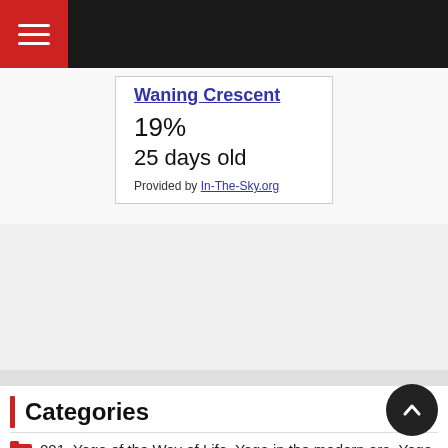Navigation bar with hamburger menu
| Waning Crescent |
| 19% |
| 25 days old |
| Provided by In-The-Sky.org |
Categories
001. Yoga of the Way of Life. Yoga in the modern era. Yoga lifestyle.
002. Yoga Philosophy. Theory and Axiomatics of Yo…
003. Vedas and Yoga. Vedas as the main source of… yoga.